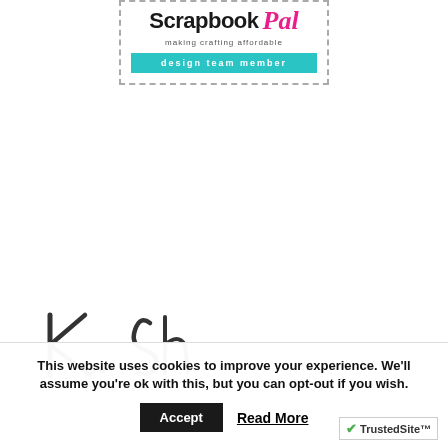[Figure (logo): Scrapbook Pal design team member badge with dashed border, teal button reading 'design team member', tagline 'making crafting affordable', and pink cursive 'Pal' logo]
[Figure (illustration): Handwritten signature in brush script, partially visible]
This website uses cookies to improve your experience. We'll assume you're ok with this, but you can opt-out if you wish.
Accept
Read More
[Figure (logo): TrustedSite badge with green checkmark]